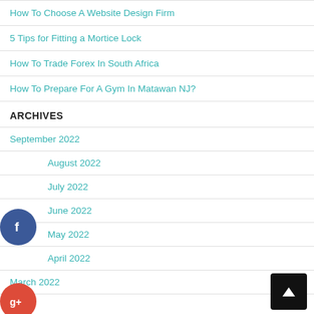How To Choose A Website Design Firm
5 Tips for Fitting a Mortice Lock
How To Trade Forex In South Africa
How To Prepare For A Gym In Matawan NJ?
ARCHIVES
September 2022
August 2022
July 2022
June 2022
May 2022
April 2022
March 2022